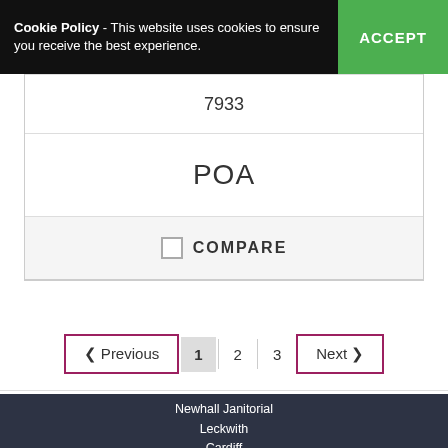Cookie Policy - This website uses cookies to ensure you receive the best experience.
ACCEPT
7933
POA
COMPARE
< Previous  1  2  3  Next >
Newhall Janitorial
Holden Road
Leckwith
Cardiff
CF11 8BS.
sales@newhall.co.uk
Call us on 02920 31 33 13